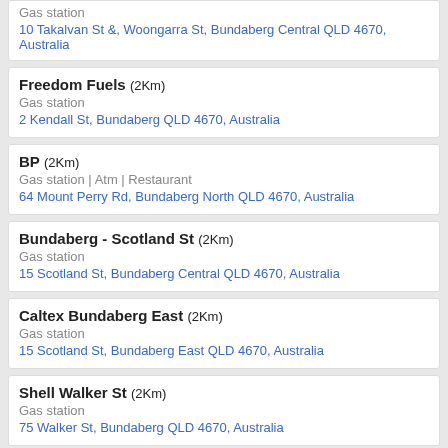Gas station
10 Takalvan St &, Woongarra St, Bundaberg Central QLD 4670, Australia
Freedom Fuels (2Km)
Gas station
2 Kendall St, Bundaberg QLD 4670, Australia
BP (2Km)
Gas station | Atm | Restaurant
64 Mount Perry Rd, Bundaberg North QLD 4670, Australia
Bundaberg - Scotland St (2Km)
Gas station
15 Scotland St, Bundaberg Central QLD 4670, Australia
Caltex Bundaberg East (2Km)
Gas station
15 Scotland St, Bundaberg East QLD 4670, Australia
Shell Walker St (2Km)
Gas station
75 Walker St, Bundaberg QLD 4670, Australia
Submit a review for Liberty
Your rating *